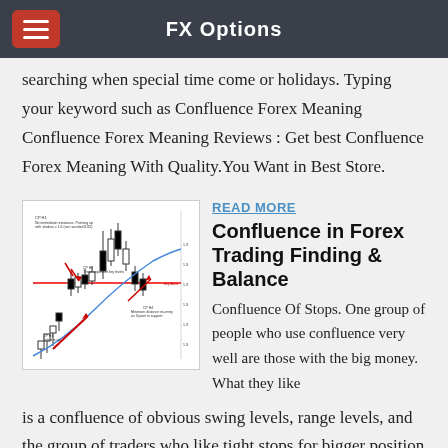FX Options
searching when special time come or holidays. Typing your keyword such as Confluence Forex Meaning Confluence Forex Meaning Reviews : Get best Confluence Forex Meaning With Quality.You Want in Best Store.
[Figure (other): Candlestick chart showing confluence trading levels with red arrows pointing to key support/resistance areas and annotations]
READ MORE
Confluence in Forex Trading Finding & Balance
Confluence Of Stops. One group of people who use confluence very well are those with the big money. What they like is a confluence of obvious swing levels, range levels, and the group of traders who like tight stops for bigger position sizing. They like to use a confluence of traders decisions and tendencies.